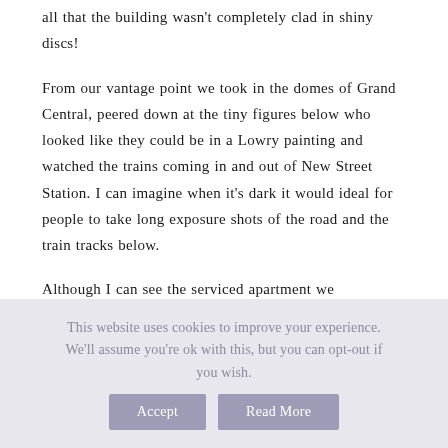all that the building wasn't completely clad in shiny discs!
From our vantage point we took in the domes of Grand Central, peered down at the tiny figures below who looked like they could be in a Lowry painting and watched the trains coming in and out of New Street Station. I can imagine when it's dark it would ideal for people to take long exposure shots of the road and the train tracks below.
Although I can see the serviced apartment we
This website uses cookies to improve your experience. We'll assume you're ok with this, but you can opt-out if you wish. Accept Read More